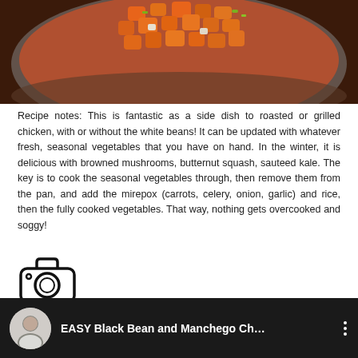[Figure (photo): Photo of chopped carrots and vegetables in a mixing bowl, viewed from above.]
Recipe notes: This is fantastic as a side dish to roasted or grilled chicken, with or without the white beans! It can be updated with whatever fresh, seasonal vegetables that you have on hand. In the winter, it is delicious with browned mushrooms, butternut squash, sauteed kale. The key is to cook the seasonal vegetables through, then remove them from the pan, and add the mirepox (carrots, celery, onion, garlic) and rice, then the fully cooked vegetables. That way, nothing gets overcooked and soggy!
[Figure (illustration): Camera icon outline illustration]
Did you make this recipe? Tag your photo #familyfarmbox
[Figure (screenshot): YouTube video thumbnail showing a woman chef, with title 'EASY Black Bean and Manchego Ch...' and three-dot menu icon]